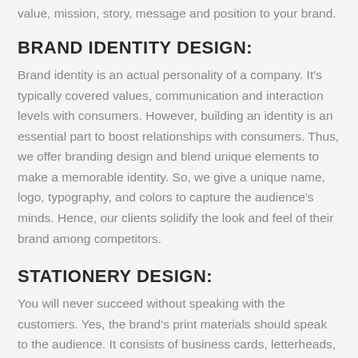value, mission, story, message and position to your brand.
BRAND IDENTITY DESIGN:
Brand identity is an actual personality of a company. It's typically covered values, communication and interaction levels with consumers. However, building an identity is an essential part to boost relationships with consumers. Thus, we offer branding design and blend unique elements to make a memorable identity. So, we give a unique name, logo, typography, and colors to capture the audience's minds. Hence, our clients solidify the look and feel of their brand among competitors.
STATIONERY DESIGN:
You will never succeed without speaking with the customers. Yes, the brand's print materials should speak to the audience. It consists of business cards, letterheads, invoices, note cards, proposals, pens, mugs, keychains and any other products that we can design to exceed the brand identity. All such stationery put a